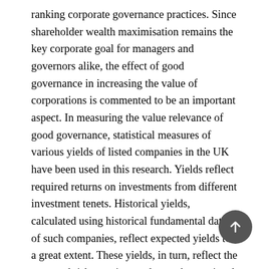ranking corporate governance practices. Since shareholder wealth maximisation remains the key corporate goal for managers and governors alike, the effect of good governance in increasing the value of corporations is commented to be an important aspect. In measuring the value relevance of good governance, statistical measures of various yields of listed companies in the UK have been used in this research. Yields reflect required returns on investments from different investment tenets. Historical yields, calculated using historical fundamental data of such companies, reflect expected yields to a great extent. These yields, in turn, reflect the expected risk premium and growth associated with the stocks of the companies. Using fundamental data, the yields have been adjusted to reflect the risk premium required by the investors along various value paradigms. Good governance should naturally lead to lower required